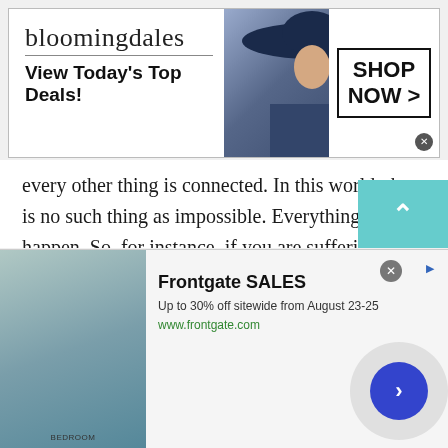[Figure (screenshot): Bloomingdale's advertisement banner: logo, model with wide-brim hat, 'View Today's Top Deals!' tagline, and 'SHOP NOW >' button]
every other thing is connected. In this world, there is no such thing as impossible. Everything can happen. So, for instance, if you are suffering from anxiety, depression, or simply just want to vent out to someone. And you believe that your chat with friends or family members cause fun to your sufferings. Then talking to a stranger is the only option left.

People enjoy chatting online specially people o
[Figure (screenshot): Frontgate SALES advertisement: bedroom image, 'Up to 30% off sitewide from August 23-25', www.frontgate.com]